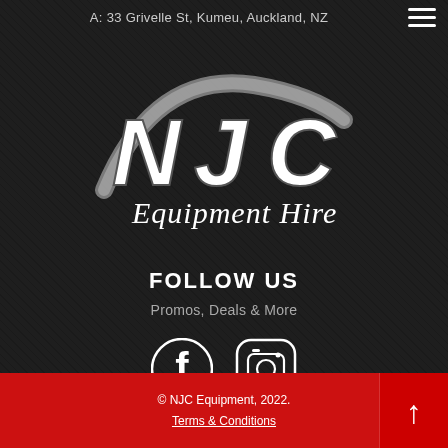A: 33 Grivelle St, Kumeu, Auckland, NZ
[Figure (logo): NJC Equipment Hire logo: stylized NJC letters in white with grey swoosh arc behind, 'Equipment Hire' in script below]
FOLLOW US
Promos, Deals & More
[Figure (other): Social media icons: Facebook 'f' icon and Instagram camera icon, both white on dark circular/square backgrounds]
© NJC Equipment, 2022. Terms & Conditions